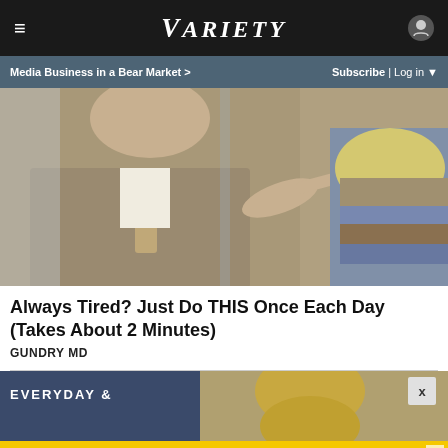≡   VARIETY   👤
Media Business in a Bear Market >   Subscribe | Log in ▼
[Figure (photo): A man in a beige suit and tie pointing at a layered anatomical or geological model showing skin/earth layers with brown and blue sections]
Always Tired? Just Do THIS Once Each Day (Takes About 2 Minutes)
GUNDRY MD
[Figure (photo): A blonde woman on a TV set with 'EVERYDAY &' text visible in background]
5-STAR CORDLESS DRILL ON SALE AT AMAZON   /SPY